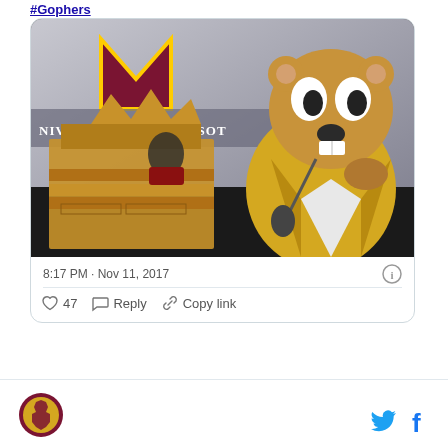#Gophers
[Figure (photo): Photo of the University of Minnesota mascot (Goldy Gopher) in a gold blazer speaking at a microphone, in front of a University of Minnesota banner with the block M logo. A wooden structure is visible in the foreground.]
8:17 PM · Nov 11, 2017
47  Reply  Copy link
[Figure (logo): University of Minnesota circular logo with state outline]
[Figure (logo): Twitter bird icon and Facebook f icon]